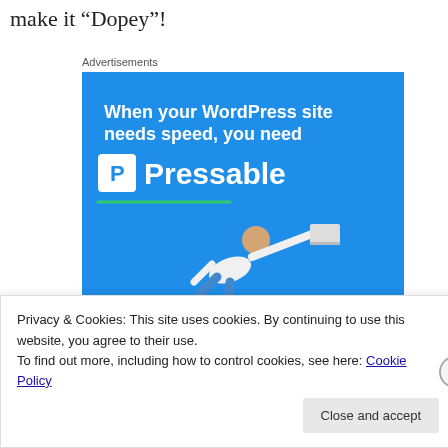make it “Dopey”!
Advertisements
[Figure (illustration): Pressable WordPress hosting advertisement banner. Blue background with white bold text reading 'When your WordPress site needs speed, you need Pressable'. Shows white P logo, brand name 'Pressable', green underline, flying person with laptop, and 'START NOW' button with green border.]
Privacy & Cookies: This site uses cookies. By continuing to use this website, you agree to their use.
To find out more, including how to control cookies, see here: Cookie Policy
Close and accept